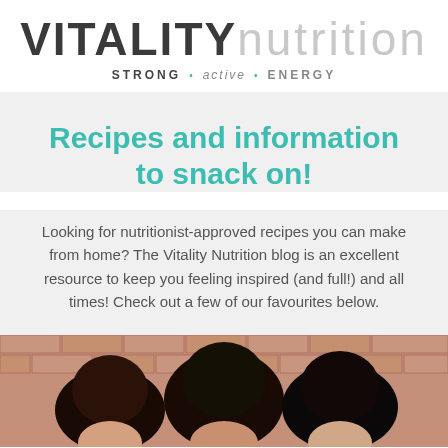VITALITY nutrition
STRONG • active • ENERGY
Recipes and information to snack on!
Looking for nutritionist-approved recipes you can make from home? The Vitality Nutrition blog is an excellent resource to keep you feeling inspired (and full!) and all times! Check out a few of our favourites below.
[Figure (photo): Three women smiling in front of a brick wall, photo cropped at top of image]